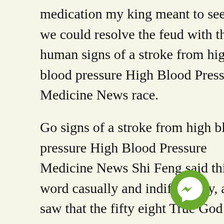medication my king meant to see if we could resolve the feud with this human signs of a stroke from high blood pressure High Blood Pressure Medicine News race.
Go signs of a stroke from high blood pressure High Blood Pressure Medicine News Shi Feng said this word casually and indifferently, and saw that the fifty eight True God weapons were immediately divided into two waves and blasted towards the two sea witches.
At the very center of the hall is a spiral staircase, which is blue.In all directions of the hall, there are secret rooms, a front of each secret room, there are small blue iron gates tightly closed.
Leng Aoyue spoke in a deep voice and said, Actually, signs of a stroke from high blood pressure High Blood Pressure Medicine News decades ago, the disciple has celebrated year of the master is fall, but the disciple has never been